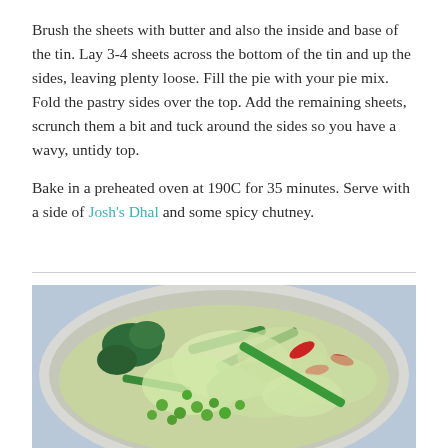Brush the sheets with butter and also the inside and base of the tin. Lay 3-4 sheets across the bottom of the tin and up the sides, leaving plenty loose. Fill the pie with your pie mix. Fold the pastry sides over the top. Add the remaining sheets, scrunch them a bit and tuck around the sides so you have a wavy, untidy top.

Bake in a preheated oven at 190C for 35 minutes. Serve with a side of Josh's Dhal and some spicy chutney.
[Figure (photo): A bowl of mixed green vegetables including peas, broccoli, cabbage, green beans, and sliced red chilies, photographed from above on a blue checkered background.]